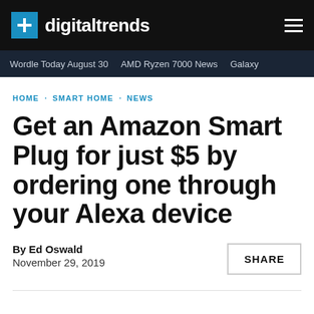digitaltrends
Wordle Today August 30  AMD Ryzen 7000 News  Galaxy
HOME · SMART HOME · NEWS
Get an Amazon Smart Plug for just $5 by ordering one through your Alexa device
By Ed Oswald
November 29, 2019